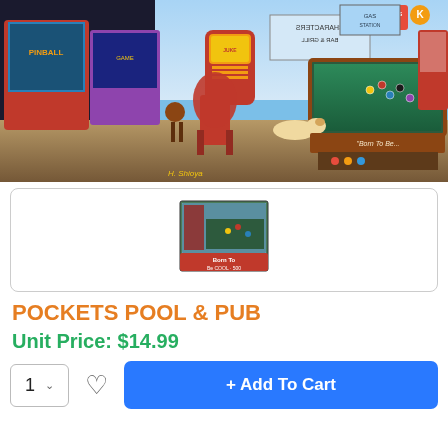[Figure (illustration): Painting of a vintage pool hall and pub interior with pinball machines, jukebox, billiards table, a dog, and people. Artist signed 'H. Shioya' in bottom left corner.]
[Figure (photo): Thumbnail image of the puzzle box for 'Pockets Pool & Pub' jigsaw puzzle, showing the same pool hall scene on the box front with a red label at the bottom.]
POCKETS POOL & PUB
Unit Price: $14.99
1
+ Add To Cart